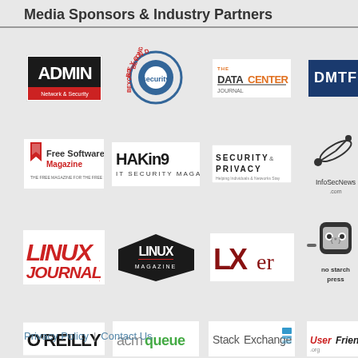Media Sponsors & Industry Partners
[Figure (logo): ADMIN Network & Security logo - black and red]
[Figure (logo): Beyond Security logo - circular design with text]
[Figure (logo): The DataCenter Journal logo - orange and gray]
[Figure (logo): DMTF logo - blue background white text]
[Figure (logo): Free Software Magazine logo - red bookmark icon]
[Figure (logo): Hakin9 IT Security Magazine logo - black bold text]
[Figure (logo): IEEE Security & Privacy logo]
[Figure (logo): InfoSecNews.com logo - satellite dish icon]
[Figure (logo): Linux Journal logo - red italic text]
[Figure (logo): Linux Magazine logo - black badge design]
[Figure (logo): LXer logo - dark red bold text]
[Figure (logo): No Starch Press logo - robot/mascot icon]
[Figure (logo): O'Reilly logo - black text]
[Figure (logo): ACM Queue logo - gray and green text]
[Figure (logo): Stack Exchange logo - blue text with icon]
[Figure (logo): UserFriendly.org logo - red and black text]
Privacy Policy | Contact Us